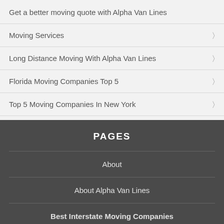Get a better moving quote with Alpha Van Lines
Moving Services
Long Distance Moving With Alpha Van Lines
Florida Moving Companies Top 5
Top 5 Moving Companies In New York
PAGES
About
About Alpha Van Lines
Best Interstate Moving Companies
Blog
Cross Country Movers